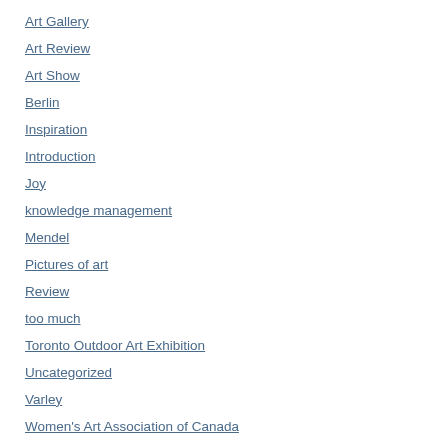Art Gallery
Art Review
Art Show
Berlin
Inspiration
Introduction
Joy
knowledge management
Mendel
Pictures of art
Review
too much
Toronto Outdoor Art Exhibition
Uncategorized
Varley
Women's Art Association of Canada
Workshop